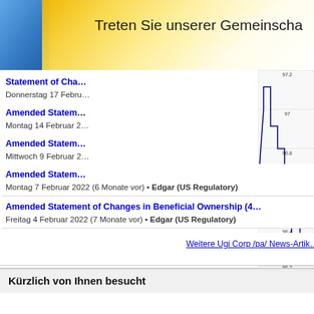Treten Sie unserer Gemeinschaft bei
Statement of Changes in Beneficial Ownership
Donnerstag 17 Februar 2022
Amended Statement of Changes in Beneficial Ownership
Montag 14 Februar 2022
Amended Statement of Changes in Beneficial Ownership
Mittwoch 9 Februar 2022
[Figure (continuous-plot): Stock price intraday chart showing price range from approximately 96.2 to 97.2, with Pre and AH market zones labeled. X-axis shows times 1100, 1400, 1700, 2000, 2300. Red dot at end near 96.6. Source: (c) www.advfn.com]
Amended Statement of Changes in Beneficial Ownership
Montag 7 Februar 2022 (6 Monate vor) • Edgar (US Regulatory)
Amended Statement of Changes in Beneficial Ownership (4...
Freitag 4 Februar 2022 (7 Monate vor) • Edgar (US Regulatory)
Weitere Ugi Corp /pa/ News-Artikel
Kürzlich von Ihnen besucht